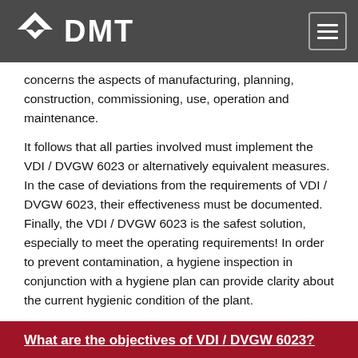DMT
concerns the aspects of manufacturing, planning, construction, commissioning, use, operation and maintenance.
It follows that all parties involved must implement the VDI / DVGW 6023 or alternatively equivalent measures. In the case of deviations from the requirements of VDI / DVGW 6023, their effectiveness must be documented. Finally, the VDI / DVGW 6023 is the safest solution, especially to meet the operating requirements! In order to prevent contamination, a hygiene inspection in conjunction with a hygiene plan can provide clarity about the current hygienic condition of the plant.
What are the objectives of VDI / DVGW 6023?
The Directive defines requirements for the hygiene of drinking water installations. This is the totality of all